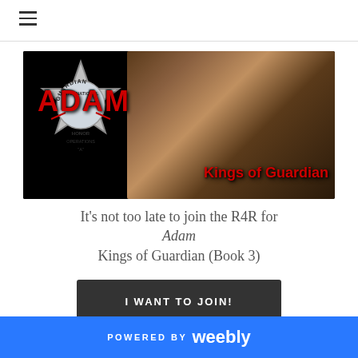≡ (hamburger menu icon)
[Figure (illustration): Book banner for 'Adam – Kings of Guardian'. Black background with a shirtless man wearing a cowboy hat on the right. On the left, a silver star badge with 'GUARDIAN INTERNATIONAL' text around it and 'ADAM' in large red letters. Red text 'Kings of Guardian' in the lower right.]
It's not too late to join the R4R for Adam Kings of Guardian (Book 3)
I WANT TO JOIN!
POWERED BY weebly